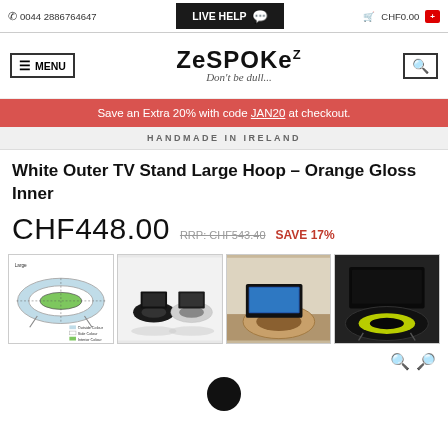0044 2886764647 | LIVE HELP | CHF0.00
[Figure (logo): Zespoke logo with tagline 'Don't be dull...']
Save an Extra 20% with code JAN20 at checkout.
HANDMADE IN IRELAND
White Outer TV Stand Large Hoop – Orange Gloss Inner
CHF448.00  RRP: CHF543.40  SAVE 17%
[Figure (illustration): Diagram showing large hoop TV stand dimensions]
[Figure (photo): Two TV stands on white background - black and white versions]
[Figure (photo): TV stand with TV in room setting]
[Figure (photo): Dark TV stand with yellow-green inner hoop]